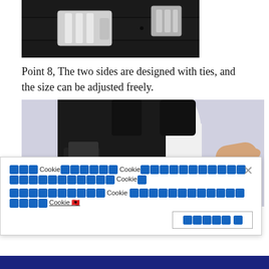[Figure (photo): Close-up photo of a black leather belt with a silver metal buckle styled with vertical bar shapes]
Point 8, The two sides are designed with ties, and the size can be adjusted freely.
[Figure (photo): Photo of a black tactical vest on a mannequin, showing side ties and adjustment buckles highlighted with a magenta/pink outline. A person's hand is visible pulling the side strap.]
███ Cookie██████ Cookie████████████████████████████ Cookie█ ██████████ Cookie ████████████████ Cookie 🇦🇱 ████████
[Figure (screenshot): Cookie consent banner with accept button showing blocked characters]